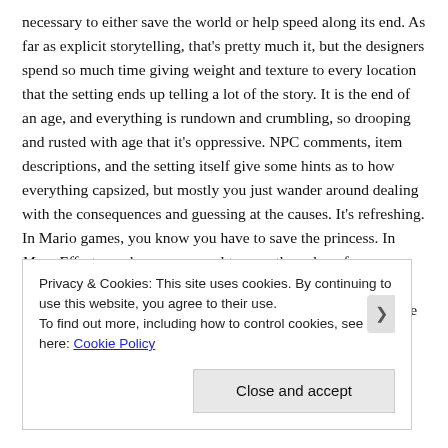necessary to either save the world or help speed along its end. As far as explicit storytelling, that's pretty much it, but the designers spend so much time giving weight and texture to every location that the setting ends up telling a lot of the story. It is the end of an age, and everything is rundown and crumbling, so drooping and rusted with age that it's oppressive. NPC comments, item descriptions, and the setting itself give some hints as to how everything capsized, but mostly you just wander around dealing with the consequences and guessing at the causes. It's refreshing. In Mario games, you know you have to save the princess. In Mass Effect, you know you need to save the galaxy from terrifying, enslaving ship-bugs. In Dark Souls, the only thing that is clear is that everything is trying to kill you. I finished the game, and I chose the
Privacy & Cookies: This site uses cookies. By continuing to use this website, you agree to their use.
To find out more, including how to control cookies, see here: Cookie Policy